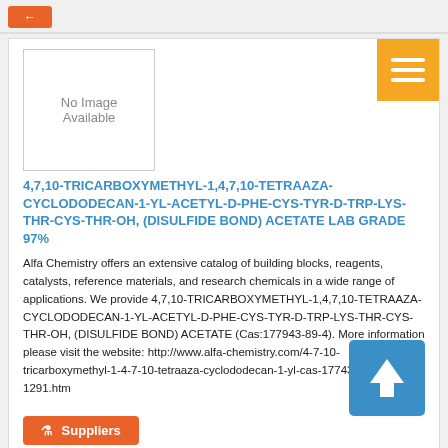[Figure (other): Orange button partially visible at top]
[Figure (other): No Image Available placeholder box and navigation hamburger menu icon]
4,7,10-TRICARBOXYMETHYL-1,4,7,10-TETRAAZA-CYCLODODECAN-1-YL-ACETYL-D-PHE-CYS-TYR-D-TRP-LYS-THR-CYS-THR-OH, (DISULFIDE BOND) ACETATE LAB GRADE 97%
Alfa Chemistry offers an extensive catalog of building blocks, reagents, catalysts, reference materials, and research chemicals in a wide range of applications. We provide 4,7,10-TRICARBOXYMETHYL-1,4,7,10-TETRAAZA-CYCLODODECAN-1-YL-ACETYL-D-PHE-CYS-TYR-D-TRP-LYS-THR-CYS-THR-OH, (DISULFIDE BOND) ACETATE (Cas:177943-89-4). More information please visit the website: http://www.alfa-chemistry.com/4-7-10-tricarboxymethyl-1-4-7-10-tetraaza-cyclododecan-1-yl-cas-177943-89-4-item-1291.htm
[Figure (other): Upload/scroll-up arrow button (blue square with white upward arrow)]
Suppliers
[Figure (other): No Image Available placeholder at bottom of page]